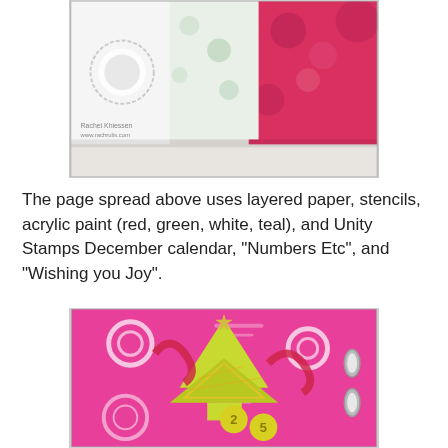[Figure (photo): Top photo showing a page spread with layered floral papers in red, green, and white tones, with a circular stamp or embellishment on the left side. Watermark text reads 'Rachel Khiessen www.rachrulis.com'.]
The page spread above uses layered paper, stencils, acrylic paint (red, green, white, teal), and Unity Stamps December calendar, "Numbers Etc", and "Wishing you Joy".
[Figure (photo): Bottom photo showing a bright pink journal page with white swirl stencil patterns, a yellow paper Christmas tree shape with a star on top, red paint swirl embellishments, and yellow clay number buttons showing '2' and '5'.]